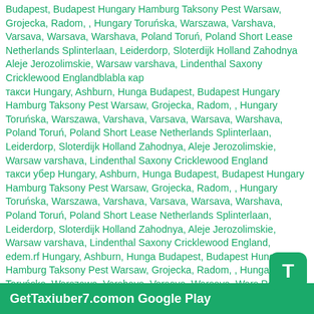Budapest, Budapest Hungary Hamburg Taksony Pest Warsaw, Grojecka, Radom, , Hungary Toruńska, Warszawa, Varshava, Varsava, Warsava, Warshava, Poland Toruń, Poland Short Lease Netherlands Splinterlaan, Leiderdorp, Sloterdijk Holland Zahodnya Aleje Jerozolimskie, Warsaw varshava, Lindenthal Saxony Cricklewood Englandblabla кар
такси Hungary, Ashburn, Hunga Budapest, Budapest Hungary Hamburg Taksony Pest Warsaw, Grojecka, Radom, , Hungary Toruńska, Warszawa, Varshava, Varsava, Warsava, Warshava, Poland Toruń, Poland Short Lease Netherlands Splinterlaan, Leiderdorp, Sloterdijk Holland Zahodnya, Aleje Jerozolimskie, Warsaw varshava, Lindenthal Saxony Cricklewood England
такси убер Hungary, Ashburn, Hunga Budapest, Budapest Hungary Hamburg Taksony Pest Warsaw, Grojecka, Radom, , Hungary Toruńska, Warszawa, Varshava, Varsava, Warsava, Warshava, Poland Toruń, Poland Short Lease Netherlands Splinterlaan, Leiderdorp, Sloterdijk Holland Zahodnya, Aleje Jerozolimskie, Warsaw varshava, Lindenthal Saxony Cricklewood England,
edem.rf Hungary, Ashburn, Hunga Budapest, Budapest Hungary Hamburg Taksony Pest Warsaw, Grojecka, Radom, , Hungary Toruńska, Warszawa, Varshava, Varsava, Warsava, Wars Poland Toruń, Poland Short Lease Netherlands Splinterl Leiderdorp, Sloterdijk Holland Zahodnya, Aleje Jerozolimskie, Warsaw varshava, Lindenthal Saxony Cricklewood England, eем.rf Hungary, Ashburn, Hunga Budapest, Budapest Hungary Hamburg Taksony Pest Warsaw, Grojecka, Radom, , Hu
[Figure (other): Green rounded square icon with white letter T]
Get Taxiuber7.com on Google Play